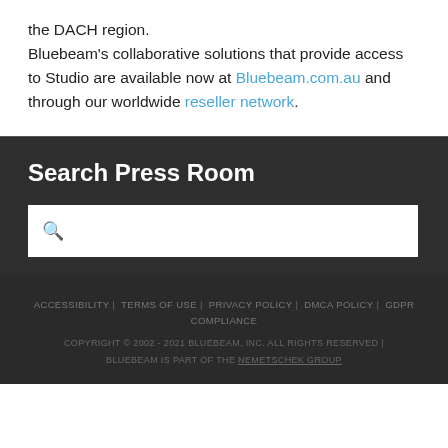the DACH region.
Bluebeam's collaborative solutions that provide access to Studio are available now at Bluebeam.com.au and through our worldwide reseller network.
Search Press Room
ACCESSIBILITY | TERMS OF USE | PRIVACY POLICY | DMCA POLICY | GDPR COMPLIANCE
COPYRIGHT © 2002 - 2021 BLUEBEAM, INC. ALL RIGHTS RESERVED | BLUEBEAM IS PART OF THE NEMETSCHEK GROUP